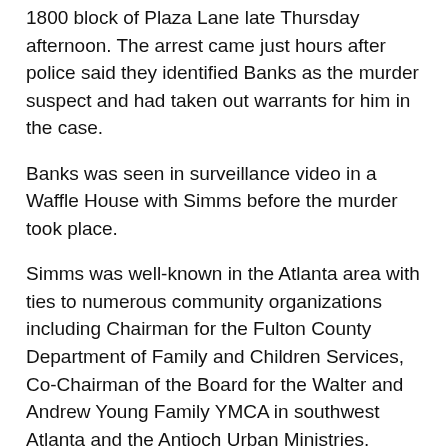1800 block of Plaza Lane late Thursday afternoon. The arrest came just hours after police said they identified Banks as the murder suspect and had taken out warrants for him in the case.
Banks was seen in surveillance video in a Waffle House with Simms before the murder took place.
Simms was well-known in the Atlanta area with ties to numerous community organizations including Chairman for the Fulton County Department of Family and Children Services, Co-Chairman of the Board for the Walter and Andrew Young Family YMCA in southwest Atlanta and the Antioch Urban Ministries.
According to police, it was Banks' mother who turned her son into authorities.